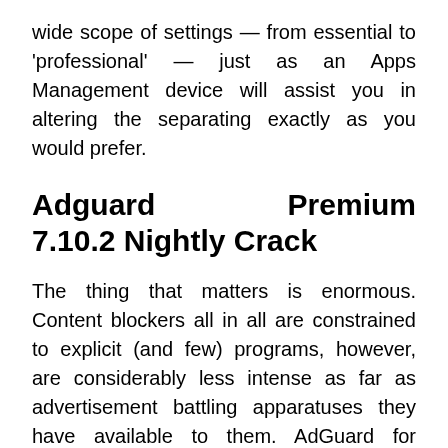wide scope of settings — from essential to 'professional' — just as an Apps Management device will assist you in altering the separating exactly as you would prefer.
Adguard Premium 7.10.2 Nightly Crack
The thing that matters is enormous. Content blockers all in all are constrained to explicit (and few) programs, however, are considerably less intense as far as advertisement battling apparatuses they have available to them. AdGuard for Android, being an independent application, can square advertisements in all programs and